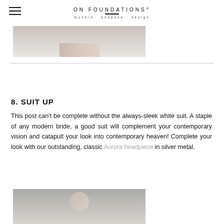ON FOUNDATIONS® modern bespoke design
[Figure (photo): Bottom portion of a fashion photo showing shoes/feet against a light background]
8. SUIT UP
This post can't be complete without the always-sleek white suit. A staple of any modern bride, a good suit will complement your contemporary vision and catapult your look into contemporary heaven! Complete your look with our outstanding, classic Aurora headpiece in silver metal.
[Figure (photo): Fashion photo of a model wearing a white suit with a white headpiece, cropped to show upper body and face]